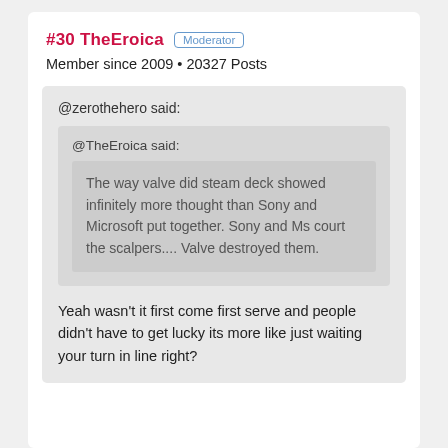#30 TheEroica Moderator
Member since 2009 • 20327 Posts
@zerothehero said:
@TheEroica said:
The way valve did steam deck showed infinitely more thought than Sony and Microsoft put together. Sony and Ms court the scalpers.... Valve destroyed them.
Yeah wasn't it first come first serve and people didn't have to get lucky its more like just waiting your turn in line right?